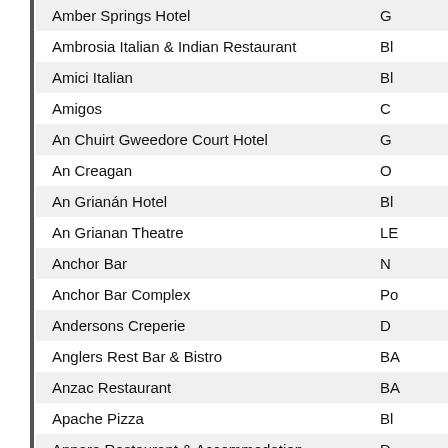| Name | Location |
| --- | --- |
| Amber Springs Hotel | G |
| Ambrosia Italian & Indian Restaurant | Bl |
| Amici Italian | Bl |
| Amigos | C |
| An Chuirt Gweedore Court Hotel | G |
| An Creagan | O |
| An Grianán Hotel | Bl |
| An Grianan Theatre | LE |
| Anchor Bar | N |
| Anchor Bar Complex | Po |
| Andersons Creperie | D |
| Anglers Rest Bar & Bistro | BA |
| Anzac Restaurant | BA |
| Apache Pizza | Bl |
| Apparo Restaurant & Accommodation | D |
| AppleJacks | M |
| Arbutus at the Crannagh | C |
| Arbutus at the Forum | D |